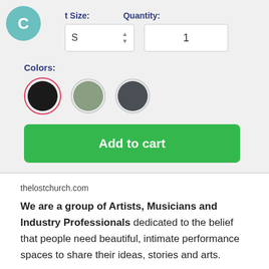t Size:
Quantity:
S
1
Colors:
Add to cart
thelostchurch.com
We are a group of Artists, Musicians and Industry Professionals dedicated to the belief that people need beautiful, intimate performance spaces to share their ideas, stories and arts.